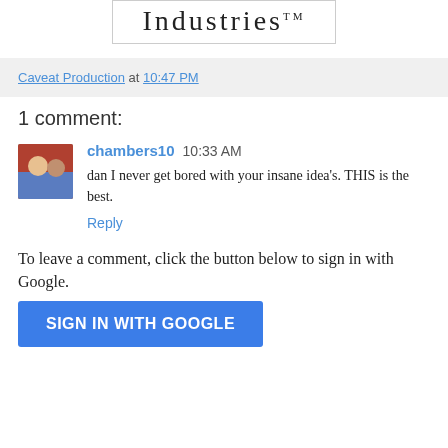[Figure (logo): Industries TM logo in serif font inside a bordered box]
Caveat Production at 10:47 PM
1 comment:
chambers10  10:33 AM
dan I never get bored with your insane idea's. THIS is the best.
Reply
To leave a comment, click the button below to sign in with Google.
SIGN IN WITH GOOGLE